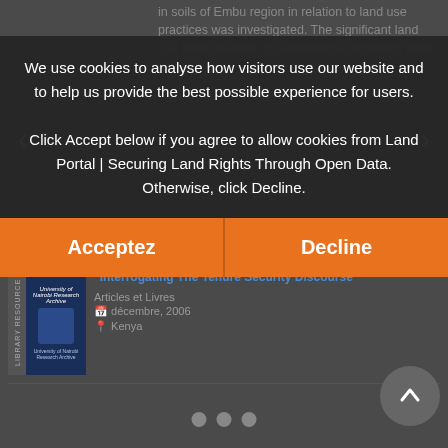in soils of Embu region in relation to land use practices was investigated. The significant land use intensification: Soil washing and dilution plate techniques
[Figure (screenshot): Navigation arrows (left and right) for carousel, and three pagination dots]
"Interrogating The Tenure Security Discourse"
Articles et Livres
décembre, 2006
Kenya
We use cookies to analyse how visitors use our website and to help us provide the best possible experience for users.
Click Accept below if you agree to allow cookies from Land Portal | Securing Land Rights Through Open Data. Otherwise, click Decline.
Acceptez
Decline
Determinants and Implications of Foreign Land Deals in Ugandan Communities
Articles et Livres
juin, 2015
Ouganda